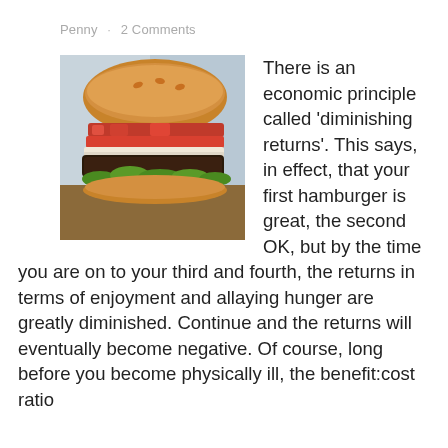Penny · 2 Comments
[Figure (photo): Close-up photo of a stacked hamburger with bun, bacon, tomato, lettuce, and patty on a wooden surface]
There is an economic principle called 'diminishing returns'. This says, in effect, that your first hamburger is great, the second OK, but by the time you are on to your third and fourth, the returns in terms of enjoyment and allaying hunger are greatly diminished. Continue and the returns will eventually become negative. Of course, long before you become physically ill, the benefit:cost ratio